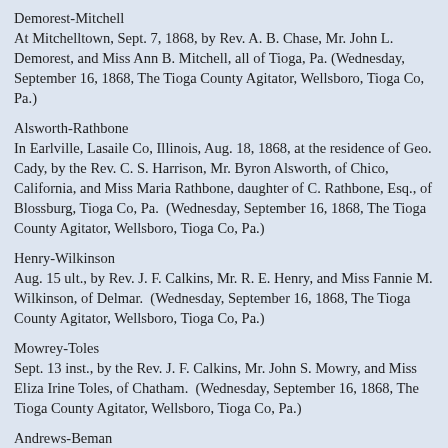Demorest-Mitchell
At Mitchelltown, Sept. 7, 1868, by Rev. A. B. Chase, Mr. John L. Demorest, and Miss Ann B. Mitchell, all of Tioga, Pa. (Wednesday, September 16, 1868, The Tioga County Agitator, Wellsboro, Tioga Co, Pa.)
Alsworth-Rathbone
In Earlville, Lasaile Co, Illinois, Aug. 18, 1868, at the residence of Geo. Cady, by the Rev. C. S. Harrison, Mr. Byron Alsworth, of Chico, California, and Miss Maria Rathbone, daughter of C. Rathbone, Esq., of Blossburg, Tioga Co, Pa.  (Wednesday, September 16, 1868, The Tioga County Agitator, Wellsboro, Tioga Co, Pa.)
Henry-Wilkinson
Aug. 15 ult., by Rev. J. F. Calkins, Mr. R. E. Henry, and Miss Fannie M. Wilkinson, of Delmar.  (Wednesday, September 16, 1868, The Tioga County Agitator, Wellsboro, Tioga Co, Pa.)
Mowrey-Toles
Sept. 13 inst., by the Rev. J. F. Calkins, Mr. John S. Mowry, and Miss Eliza Irine Toles, of Chatham.  (Wednesday, September 16, 1868, The Tioga County Agitator, Wellsboro, Tioga Co, Pa.)
Andrews-Beman